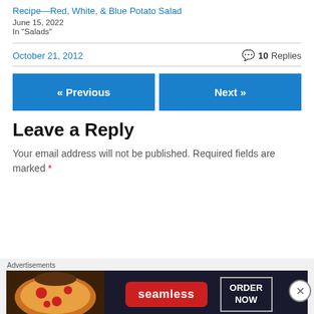Recipe—Red, White, & Blue Potato Salad
June 15, 2022
In "Salads"
October 21, 2012   💬 10 Replies
« Previous   Next »
Leave a Reply
Your email address will not be published. Required fields are marked *
[Figure (other): Seamless food delivery advertisement banner showing pizza and ORDER NOW button]